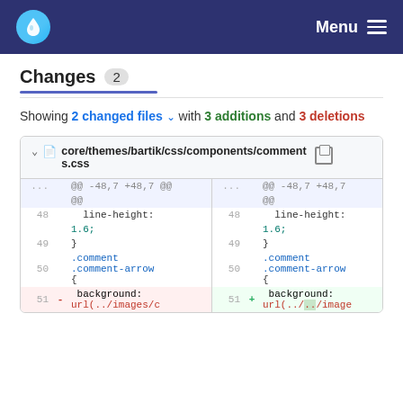Menu
Changes 2
Showing 2 changed files with 3 additions and 3 deletions
core/themes/bartik/css/components/comments.css
| line-old | sign | code-old | line-new | sign | code-new |
| --- | --- | --- | --- | --- | --- |
| ... |  | @@ -48,7 +48,7 @@ | ... |  | @@ -48,7 +48,7 @@ |
|  |  | @@ |  |  | @@ |
| 48 |  |   line-height: | 48 |  |   line-height: |
|  |  |   1.6; |  |  |   1.6; |
| 49 |  | } | 49 |  | } |
| 50 |  | .comment .comment-arrow { | 50 |  | .comment .comment-arrow { |
| 51 | - |   background: url(../images/c | 51 | + |   background: url(../../image |